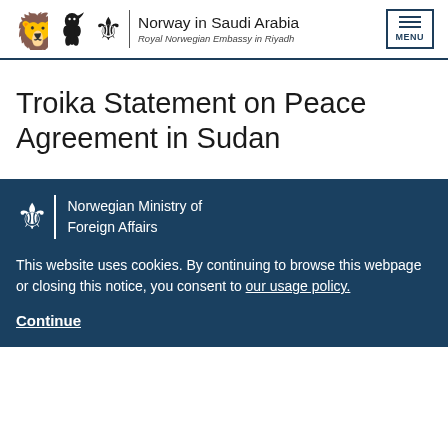Norway in Saudi Arabia — Royal Norwegian Embassy in Riyadh
Troika Statement on Peace Agreement in Sudan
[Figure (logo): Norwegian Ministry of Foreign Affairs logo with lion crest and vertical divider]
This website uses cookies. By continuing to browse this webpage or closing this notice, you consent to our usage policy.
Continue